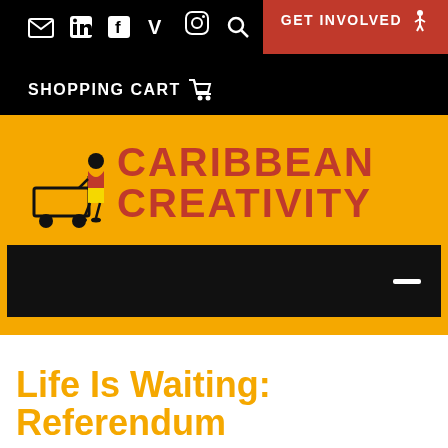SHOPPING CART
[Figure (logo): Caribbean Creativity logo — figure of person pushing a cart on orange background with bold red text CARIBBEAN CREATIVITY]
Life Is Waiting: Referendum